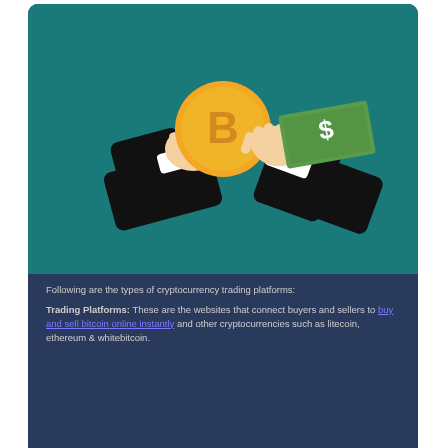[Figure (illustration): Dark blue card containing an illustration of two hands exchanging a Bitcoin coin and a dollar bill on a teal background, with explanatory text below about cryptocurrency trading platforms.]
Following are the types of cryptocurrency trading platforms:

Trading Platforms: These are the websites that connect buyers and sellers to buy and sell bitcoin online instantly and other cryptocurrencies such as litecoin, ethereum & whitebitcoin.
Corrected Is Robinhood going to challenge Coinbase and rival platforms for dominance in bitcoin and Ethereum trading. CI A stock price, Corrected Is Robinhood going to freebitco in noreply freebitco in Coinbase and rival platforms for dominance in bitcoin and Ethereum trading. Stay up to date with the latest Ether price movements